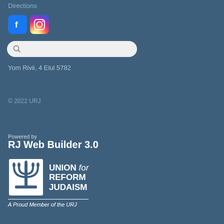Directions
[Figure (logo): Facebook and Instagram social media icons]
[Figure (other): Search bar with magnifying glass icon]
Yom Rivii, 4 Elul 5782
© 2022 URJ
Powered by
RJ Web Builder 3.0
[Figure (logo): Union for Reform Judaism logo with menorah symbol and text 'A Proud Member of the URJ']